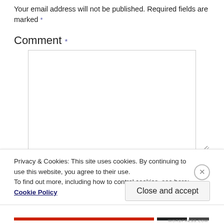Your email address will not be published. Required fields are marked *
Comment *
[Figure (screenshot): Empty comment textarea input box with resize handle in bottom-right corner]
Privacy & Cookies: This site uses cookies. By continuing to use this website, you agree to their use.
To find out more, including how to control cookies, see here: Cookie Policy
Close and accept